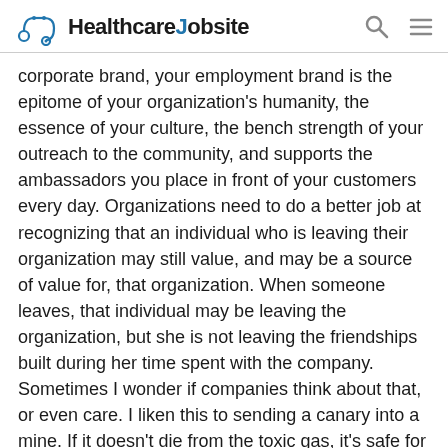HealthcareJobsite
corporate brand, your employment brand is the epitome of your organization's humanity, the essence of your culture, the bench strength of your outreach to the community, and supports the ambassadors you place in front of your customers every day. Organizations need to do a better job at recognizing that an individual who is leaving their organization may still value, and may be a source of value for, that organization. When someone leaves, that individual may be leaving the organization, but she is not leaving the friendships built during her time spent with the company. Sometimes I wonder if companies think about that, or even care. I liken this to sending a canary into a mine. If it doesn't die from the toxic gas, it's safe for others to follow. Think about this in terms of the former employee. She leaves and spreads the word that it's safe “out there” for others to follow. Not only that, but you know that potential pool of good candidates from your top competitor? You need to believe they too will get wind of this and continue the conversation with their peers. So do you really want that